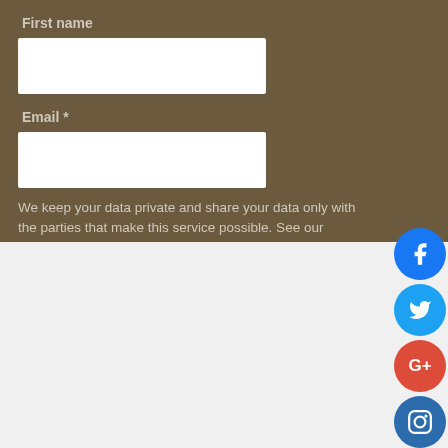First name
[Figure (other): First name text input field (white rectangle)]
Email *
[Figure (other): Email text input field (white rectangle)]
We keep your data private and share your data only with the parties that make this service possible. See our Privacy Policy for more information.
[Figure (other): Social media icons column on right side: Facebook (blue), Twitter (cyan), Google+ (red), Instagram (dark blue), YouTube (red)]
We use cookies on our website to give you the most relevant experience by remembering your preferences and repeat visits. By clicking “Accept All”, you consent to the use of ALL the cookies. However, you may visit "Cookie Settings" to provide a controlled consent.
Cookie Settings
Accept All